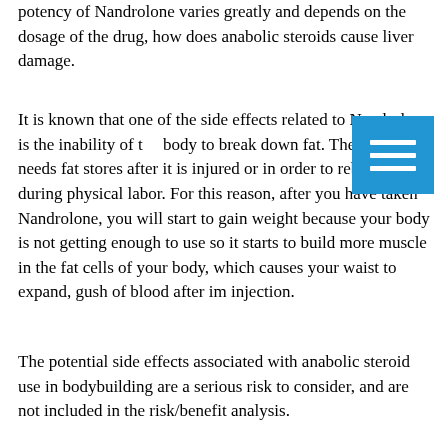potency of Nandrolone varies greatly and depends on the dosage of the drug, how does anabolic steroids cause liver damage.
It is known that one of the side effects related to Nandrolone is the inability of the body to break down fat. The body needs fat stores after it is injured or in order to rebuild itself during physical labor. For this reason, after you have taken Nandrolone, you will start to gain weight because your body is not getting enough to use so it starts to build more muscle in the fat cells of your body, which causes your waist to expand, gush of blood after im injection.
The potential side effects associated with anabolic steroid use in bodybuilding are a serious risk to consider, and are not included in the risk/benefit analysis.